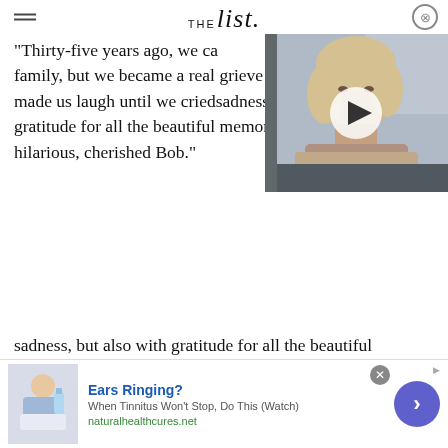THE list
"Thirty-five years ago, we came together as a cast and became a family, but we became a real family. We were able to laugh together and grieve as a family," the cast's statement read. "[Bob] has made us laugh until we cried. And right now we are all filled with sadness, but also with gratitude for all the beautiful memories of our sweet, kind, hilarious, cherished Bob."
[Figure (photo): Video thumbnail showing a woman with blonde hair sitting in a car, with a white play button overlay]
Calling Saget a "brother" to the guys on-set, a "father" to the young actresses who played his daughters, and a "friend" to everyone, the cast urged followers to "hug the people you love."
[Figure (infographic): Advertisement banner: Ears Ringing? When Tinnitus Won't Stop, Do This (Watch) - naturalhealthcures.net, with image of person and purple arrow button]